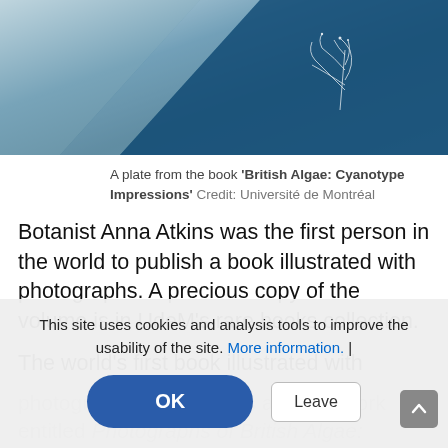[Figure (photo): Close-up of a blue book cover with white botanical/algae illustration — a plate from 'British Algae: Cyanotype Impressions']
A plate from the book 'British Algae: Cyanotype Impressions' Credit: Université de Montréal
Botanist Anna Atkins was the first person in the world to publish a book illustrated with photographs. A precious copy of the volume is in UdeM's rare books collection.
The world's first book illustrated with photographic images was also the work entitled Photographs of British Algae: Cyanotype Impressions. It was produced by a woman, botanist Anna Atkins. Although it was published in
This site uses cookies and analysis tools to improve the usability of the site. More information. |
OK
Leave